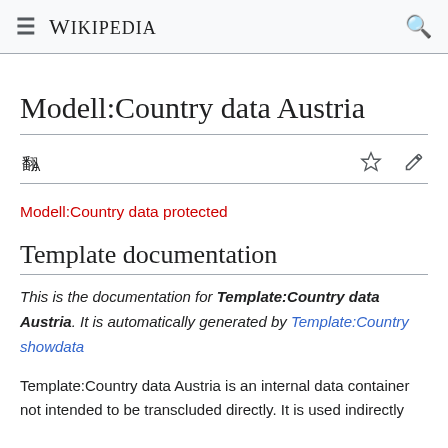☰ WIKIPEDIA 🔍
Modell:Country data Austria
Modell:Country data protected
Template documentation
This is the documentation for Template:Country data Austria. It is automatically generated by Template:Country showdata
Template:Country data Austria is an internal data container not intended to be transcluded directly. It is used indirectly